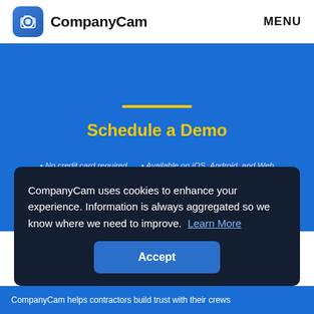CompanyCam  MENU
Schedule a Demo
• No credit card required
• Available on iOS, Android, and Web
CompanyCam uses cookies to enhance your experience. Information is always aggregated so we know where we need to improve. Learn More
Accept
CompanyCam helps contractors build trust with their crews